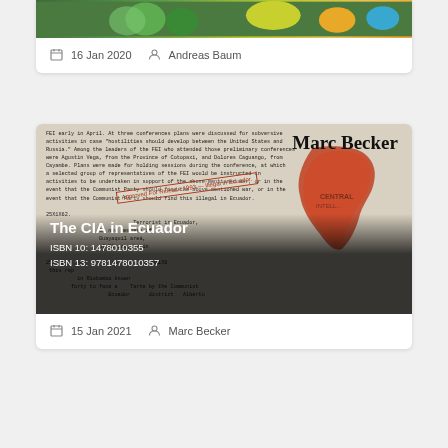[Figure (photo): Top card thumbnail showing colorful image (green and yellow tones, partial view of people/characters)]
16 Jan 2020   Andreas Baum
[Figure (photo): Book listing card for 'The CIA in Ecuador' by Marc Becker, showing a declassified CIA document background with a map of Ecuador in orange/red overlay. Text overlay shows book title, ISBN 10: 1478010355, ISBN 13: 9781478010357]
15 Jan 2021   Marc Becker